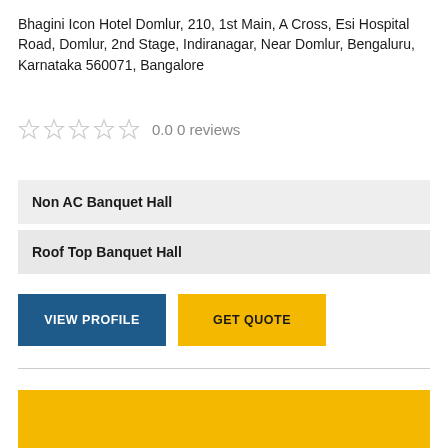Bhagini Icon Hotel Domlur, 210, 1st Main, A Cross, Esi Hospital Road, Domlur, 2nd Stage, Indiranagar, Near Domlur, Bengaluru, Karnataka 560071, Bangalore
0.0 0 reviews
Non AC Banquet Hall
Roof Top Banquet Hall
VIEW PROFILE
GET QUOTE
[Figure (other): Yellow/gold colored rectangular block at the bottom of the page]